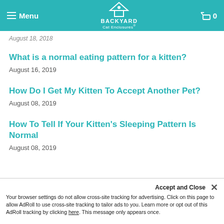Menu | Backyard Cat Enclosures | 0
August 18, 2019
What is a normal eating pattern for a kitten?
August 16, 2019
How Do I Get My Kitten To Accept Another Pet?
August 08, 2019
How To Tell If Your Kitten's Sleeping Pattern Is Normal
August 08, 2019
Accept and Close
Your browser settings do not allow cross-site tracking for advertising. Click on this page to allow AdRoll to use cross-site tracking to tailor ads to you. Learn more or opt out of this AdRoll tracking by clicking here. This message only appears once.